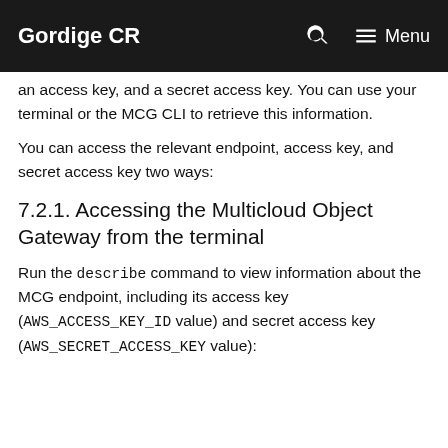Gordige CR
an access key, and a secret access key. You can use your terminal or the MCG CLI to retrieve this information.
You can access the relevant endpoint, access key, and secret access key two ways:
7.2.1. Accessing the Multicloud Object Gateway from the terminal
Run the describe command to view information about the MCG endpoint, including its access key (AWS_ACCESS_KEY_ID value) and secret access key (AWS_SECRET_ACCESS_KEY value):